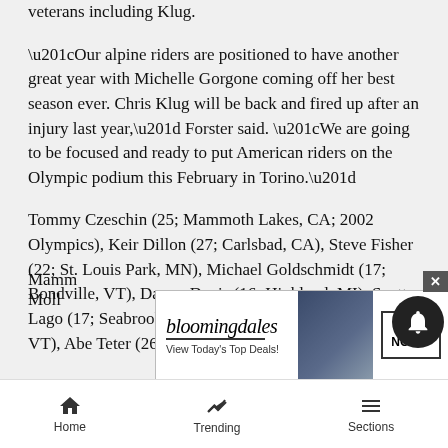veterans including Klug.
“Our alpine riders are positioned to have another great year with Michelle Gorgone coming off her best season ever. Chris Klug will be back and fired up after an injury last year,” Forster said. “We are going to be focused and ready to put American riders on the Olympic podium this February in Torino.”
Tommy Czeschin (25; Mammoth Lakes, CA; 2002 Olympics), Keir Dillon (27; Carlsbad, CA), Steve Fisher (22; St. Louis Park, MN), Michael Goldschmidt (17; Bondville, VT), Danny Davis (16; Highland, MI), Scott Lago (17; Seabrook, NH), Elijah Teter (21; Belmont, VT), Abe Teter (26; Belmont, VT) and Luke Wynen (28; Mamm
Moll...
[Figure (screenshot): Advertisement banner for Bloomingdale's: 'bloomingdales / View Today's Top Deals!' with an image of a woman in a hat and a 'SHOP NOW >' button. Close (x) button top right. Notification bell icon overlapping.]
Home   Trending   Sections